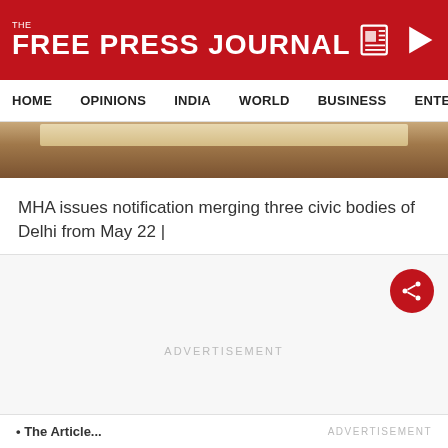THE FREE PRESS JOURNAL
HOME | OPINIONS | INDIA | WORLD | BUSINESS | ENTERTAIN
[Figure (photo): Partial view of a newspaper or book on a wooden surface]
MHA issues notification merging three civic bodies of Delhi from May 22 |
ADVERTISEMENT
The Article...
ADVERTISEMENT